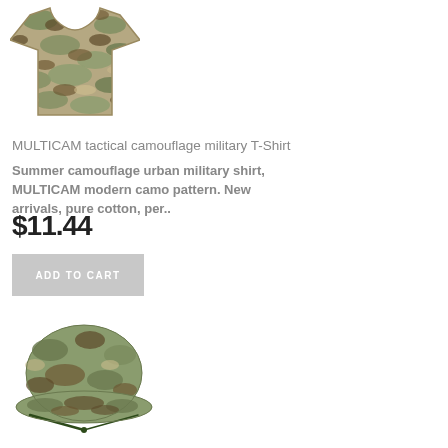[Figure (photo): Camouflage military T-shirt in MULTICAM pattern, flat lay product photo on white background]
MULTICAM tactical camouflage military T-Shirt
Summer camouflage urban military shirt, MULTICAM modern camo pattern. New arrivals, pure cotton, per..
$11.44
ADD TO CART
[Figure (photo): Camouflage boonie hat in MULTICAM pattern, product photo on white background]